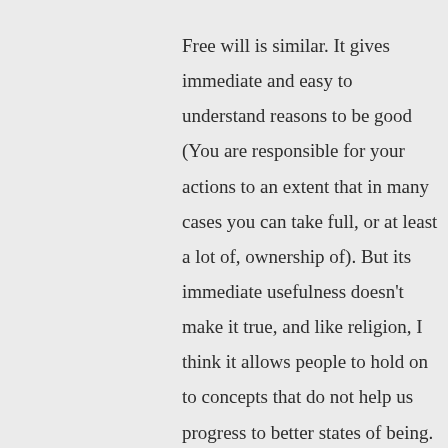Free will is similar. It gives immediate and easy to understand reasons to be good (You are responsible for your actions to an extent that in many cases you can take full, or at least a lot of, ownership of). But its immediate usefulness doesn't make it true, and like religion, I think it allows people to hold on to concepts that do not help us progress to better states of being. Believing in free will enables us to place blame